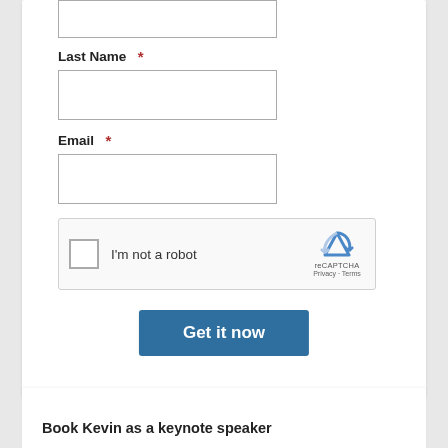[Figure (screenshot): Form input box at top (partially visible), for a name field]
Last Name *
[Figure (screenshot): Last Name input text field (empty)]
Email *
[Figure (screenshot): Email input text field (empty)]
[Figure (screenshot): reCAPTCHA widget with checkbox 'I'm not a robot' and reCAPTCHA branding]
[Figure (screenshot): Blue 'Get it now' submit button]
Book Kevin as a keynote speaker